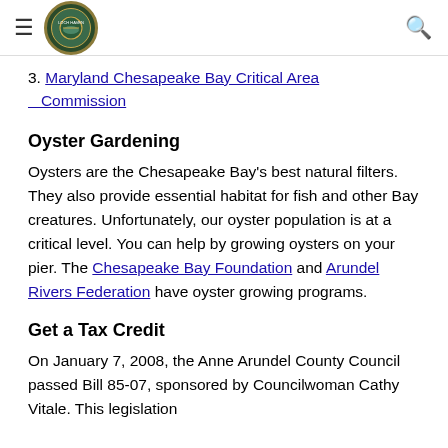Loch Haven header with hamburger menu, logo, and search icon
3. Maryland Chesapeake Bay Critical Area Commission
Oyster Gardening
Oysters are the Chesapeake Bay's best natural filters. They also provide essential habitat for fish and other Bay creatures. Unfortunately, our oyster population is at a critical level. You can help by growing oysters on your pier. The Chesapeake Bay Foundation and Arundel Rivers Federation have oyster growing programs.
Get a Tax Credit
On January 7, 2008, the Anne Arundel County Council passed Bill 85-07, sponsored by Councilwoman Cathy Vitale. This legislation